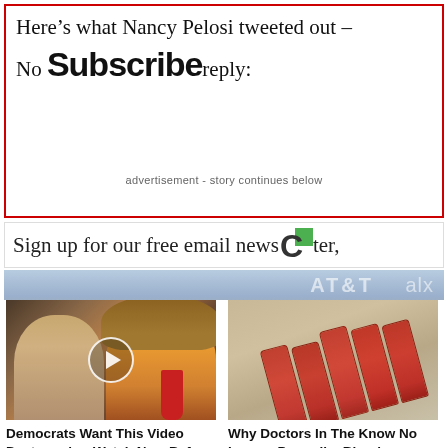Here’s what Nancy Pelosi tweeted out – No one could reply:
Subscribe
advertisement - story continues below
Sign up for our free email newsletter,
[Figure (photo): Promotional image showing two people (a blonde woman and an older man) in front of an AT&T branded backdrop, with a 'Promoted X' badge in the lower right]
[Figure (photo): Thumbnail showing two people with a play button overlay, associated with article about Democrats wanting a video destroyed]
Democrats Want This Video Destroyed — Watch Now Before It’s Banned
🔥 166,485
[Figure (photo): Thumbnail showing multiple prescription pill bottles, associated with article about doctors no longer prescribing blood pressure meds]
Why Doctors In The Know No Longer Prescribe Blood Pressure Meds
🔥 110,565